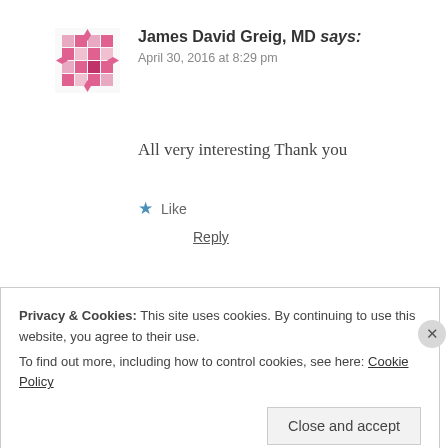James David Greig, MD says:
April 30, 2016 at 8:29 pm
All very interesting Thank you
★ Like
Reply
Shane Carter says:
Privacy & Cookies: This site uses cookies. By continuing to use this website, you agree to their use.
To find out more, including how to control cookies, see here: Cookie Policy
Close and accept